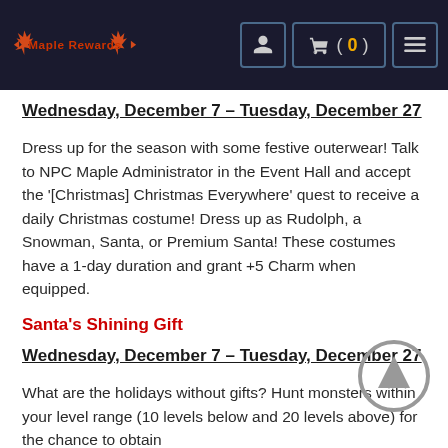Maple Rewards [logo header with navigation]
Wednesday, December 7 – Tuesday, December 27
Dress up for the season with some festive outerwear! Talk to NPC Maple Administrator in the Event Hall and accept the '[Christmas] Christmas Everywhere' quest to receive a daily Christmas costume! Dress up as Rudolph, a Snowman, Santa, or Premium Santa! These costumes have a 1-day duration and grant +5 Charm when equipped.
Santa's Shining Gift
Wednesday, December 7 – Tuesday, December 27
What are the holidays without gifts? Hunt monsters within your level range (10 levels below and 20 levels above) for the chance to obtain